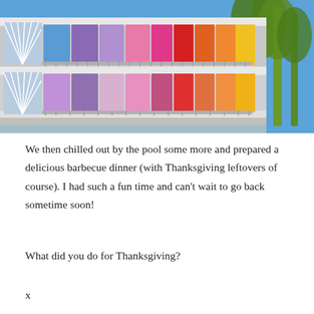[Figure (photo): Exterior photo of a colorful two-story motel or hotel building with brightly colored room doors in purple, pink, red, orange, and yellow. Blue sky in the background with tall palm trees on the right side.]
We then chilled out by the pool some more and prepared a delicious barbecue dinner (with Thanksgiving leftovers of course). I had such a fun time and can't wait to go back sometime soon!
What did you do for Thanksgiving?
x